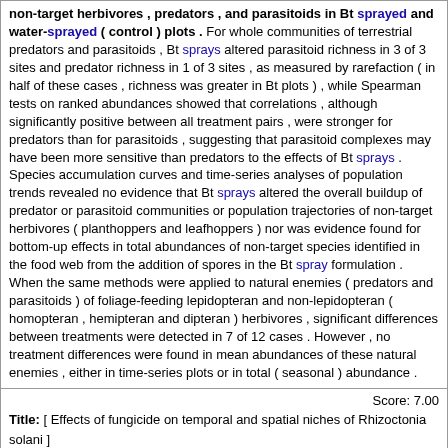non-target herbivores , predators , and parasitoids in Bt sprayed and water-sprayed ( control ) plots . For whole communities of terrestrial predators and parasitoids , Bt sprays altered parasitoid richness in 3 of 3 sites and predator richness in 1 of 3 sites , as measured by rarefaction ( in half of these cases , richness was greater in Bt plots ) , while Spearman tests on ranked abundances showed that correlations , although significantly positive between all treatment pairs , were stronger for predators than for parasitoids , suggesting that parasitoid complexes may have been more sensitive than predators to the effects of Bt sprays . Species accumulation curves and time-series analyses of population trends revealed no evidence that Bt sprays altered the overall buildup of predator or parasitoid communities or population trajectories of non-target herbivores ( planthoppers and leafhoppers ) nor was evidence found for bottom-up effects in total abundances of non-target species identified in the food web from the addition of spores in the Bt spray formulation . When the same methods were applied to natural enemies ( predators and parasitoids ) of foliage-feeding lepidopteran and non-lepidopteran ( homopteran , hemipteran and dipteran ) herbivores , significant differences between treatments were detected in 7 of 12 cases . However , no treatment differences were found in mean abundances of these natural enemies , either in time-series plots or in total ( seasonal ) abundance .
Score: 7.00
Title: [ Effects of fungicide on temporal and spatial niches of Rhizoctonia solani ]
Author: Wang Z Tan G
Year: 2005  Type: ARTICLE
Literature: oryza  Field: abstract  Doc ID: pub16262065